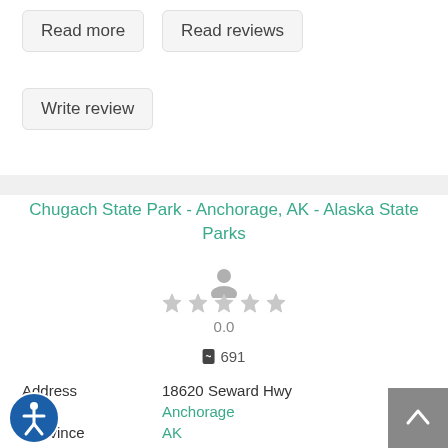Read more
Read reviews
Write review
Chugach State Park - Anchorage, AK - Alaska State Parks
0.0
691
Address   18620 Seward Hwy
City   Anchorage
State/Province   AK